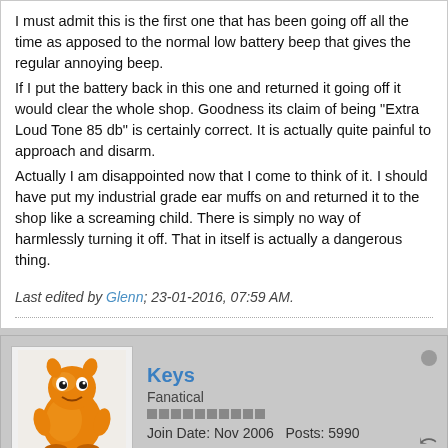I must admit this is the first one that has been going off all the time as apposed to the normal low battery beep that gives the regular annoying beep.
If I put the battery back in this one and returned it going off it would clear the whole shop. Goodness its claim of being "Extra Loud Tone 85 db" is certainly correct. It is actually quite painful to approach and disarm.
Actually I am disappointed now that I come to think of it. I should have put my industrial grade ear muffs on and returned it to the shop like a screaming child. There is simply no way of harmlessly turning it off. That in itself is actually a dangerous thing.
Last edited by Glenn; 23-01-2016, 07:59 AM.
Keys
Fanatical
Join Date: Nov 2006   Posts: 5990
23-01-2016, 08:08 AM
#9
Originally posted by Viking
(remember that even though the new law will allow you to...